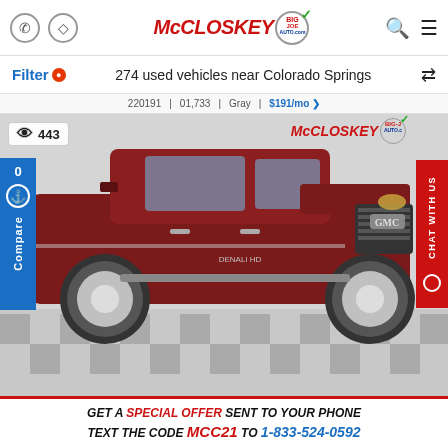McCloskey Big Joe Auto.com — phone icon, directions icon, search icon, menu icon
Filter  0   274 used vehicles near Colorado Springs
220191 | 01,133 | Gray | $191/mo
[Figure (photo): Red GMC Sierra Denali HD pickup truck displayed in a dealership showroom with checkered floor. McCloskey Big Joe Auto.com logo overlay in top right of image. View count badge showing eye icon and 443 views. Blue sidebar with accessibility icon and Compare label. Red chat sidebar on right edge reading CHAT WITH US.]
GET A SPECIAL OFFER SENT TO YOUR PHONE TEXT THE CODE MCC21 TO 1-833-524-0592